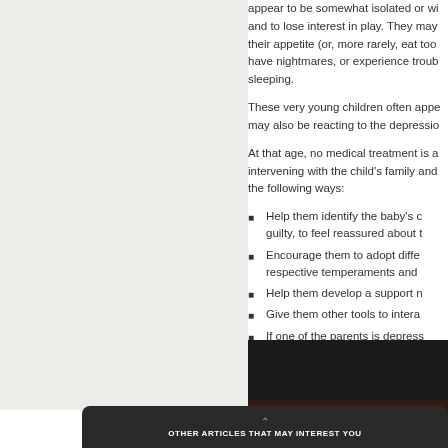appear to be somewhat isolated or withdrawn and to lose interest in play. They may change their appetite (or, more rarely, eat too much), have nightmares, or experience trouble sleeping.
These very young children often appear... may also be reacting to the depression...
At that age, no medical treatment is advised; intervening with the child's family and ... the following ways:
Help them identify the baby's c... guilty, to feel reassured about t...
Encourage them to adopt diffe... respective temperaments and ...
Help them develop a support n...
Give them other tools to intera...
If one of the parents is depress... proper treatment
Mini-Psych School videos:
Can children suffer from depression?
[Figure (photo): Dark video thumbnail]
OTHER ARTICLES THAT MAY INTEREST YOU